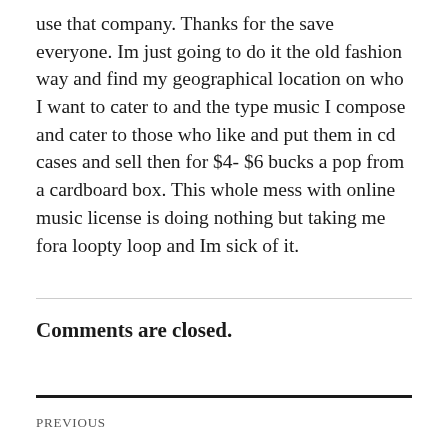use that company. Thanks for the save everyone. Im just going to do it the old fashion way and find my geographical location on who I want to cater to and the type music I compose and cater to those who like and put them in cd cases and sell then for $4- $6 bucks a pop from a cardboard box. This whole mess with online music license is doing nothing but taking me fora loopty loop and Im sick of it.
Comments are closed.
PREVIOUS